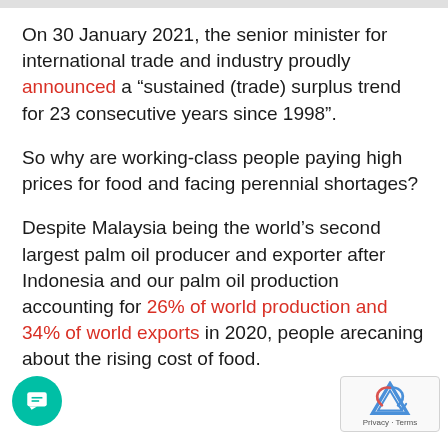On 30 January 2021, the senior minister for international trade and industry proudly announced a "sustained (trade) surplus trend for 23 consecutive years since 1998".
So why are working-class people paying high prices for food and facing perennial shortages?
Despite Malaysia being the world's second largest palm oil producer and exporter after Indonesia and our palm oil production accounting for 26% of world production and 34% of world exports in 2020, people are complaining about the rising cost of food.